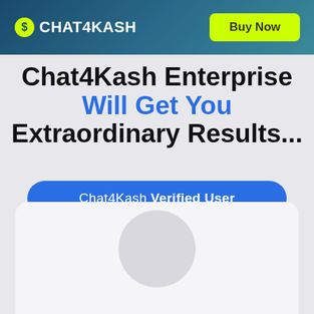CHAT4KASH | Buy Now
Chat4Kash Enterprise Will Get You Extraordinary Results...
Chat4Kash Verified User
[Figure (illustration): White rounded card with circular avatar placeholder at bottom of page]